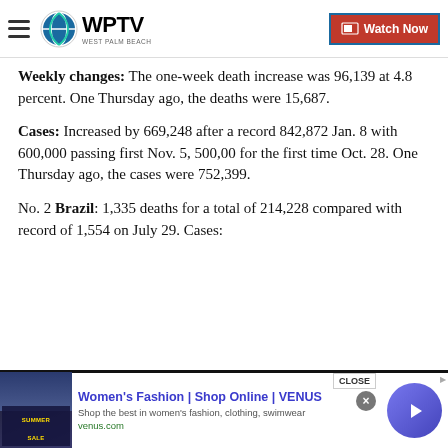WPTV West Palm Beach - Watch Now
Weekly changes: The one-week death increase was 96,139 at 4.8 percent. One Thursday ago, the deaths were 15,687.
Cases: Increased by 669,248 after a record 842,872 Jan. 8 with 600,000 passing first Nov. 5, 500,00 for the first time Oct. 28. One Thursday ago, the cases were 752,399.
No. 2 Brazil: 1,335 deaths for a total of 214,228 compared with record of 1,554 on July 29. Cases:
Women's Fashion | Shop Online | VENUS - Shop the best in women's fashion, clothing, swimwear - venus.com